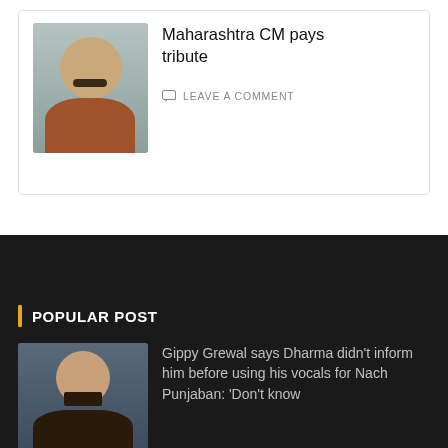[Figure (photo): Headshot of a man with mustache, top portion of image cropped]
Maharashtra CM pays tribute
LEAVE A COMMENT
POPULAR POST
[Figure (photo): Headshot of Gippy Grewal smiling, wearing dark jacket]
Gippy Grewal says Dharma didn't inform him before using his vocals for Nach Punjaban: 'Don't know